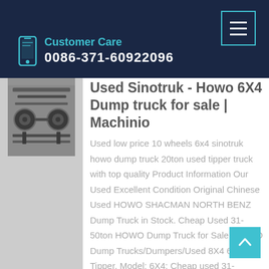Customer Care 0086-371-60922096
[Figure (photo): Underside photo of a Sinotruk Howo dump truck showing chassis and drivetrain components]
Used Sinotruk - Howo 6X4 Dump truck for sale | Machinio
Used low price 10 wheels 6x4 sinotruk howo dump truck 20ton used tipper truck with top quality Product Information Our Used Excellent Condition Original Chinese Used HOWO SHACMAN NORTH BENZ Dump Truck in Stock. Cheap Used 31-50ton HOWO Dump Truck for Sale, HOWO Dump Trucks/Dumpers/Used 8X4 6X4 Tipper. Model: 6X4; Cheap used 31-